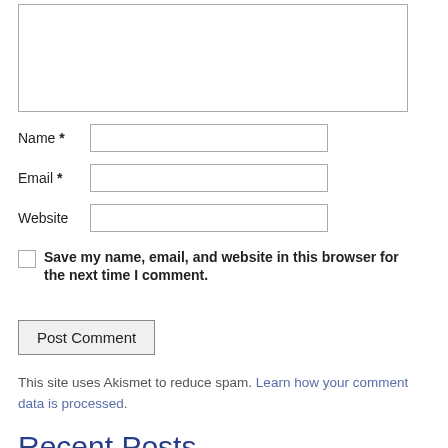[Figure (other): Comment text area input box (empty), with resize handle at bottom right]
Name *
[Figure (other): Name text input field (empty)]
Email *
[Figure (other): Email text input field (empty)]
Website
[Figure (other): Website text input field (empty)]
Save my name, email, and website in this browser for the next time I comment.
[Figure (other): Post Comment button]
This site uses Akismet to reduce spam. Learn how your comment data is processed.
Recent Posts